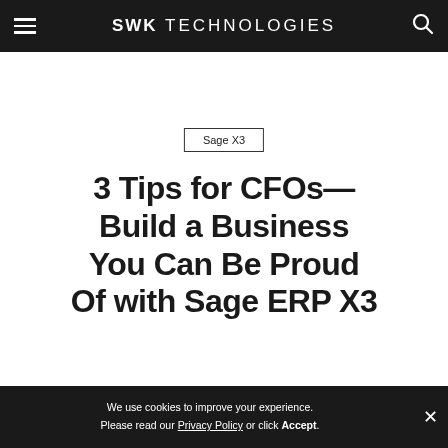SWK TECHNOLOGIES
Sage X3
3 Tips for CFOs—Build a Business You Can Be Proud Of with Sage ERP X3
We use cookies to improve your experience. Please read our Privacy Policy or click Accept.